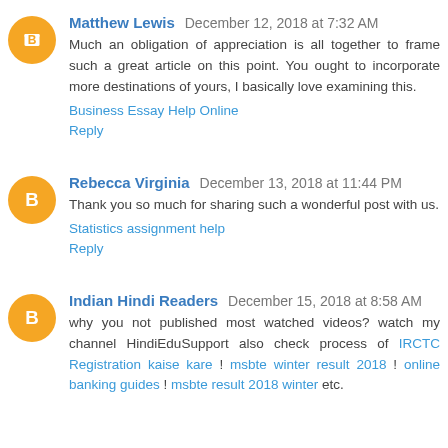Matthew Lewis  December 12, 2018 at 7:32 AM
Much an obligation of appreciation is all together to frame such a great article on this point. You ought to incorporate more destinations of yours, I basically love examining this.
Business Essay Help Online
Reply
Rebecca Virginia  December 13, 2018 at 11:44 PM
Thank you so much for sharing such a wonderful post with us.
Statistics assignment help
Reply
Indian Hindi Readers  December 15, 2018 at 8:58 AM
why you not published most watched videos? watch my channel HindiEduSupport also check process of IRCTC Registration kaise kare ! msbte winter result 2018 ! online banking guides ! msbte result 2018 winter etc.